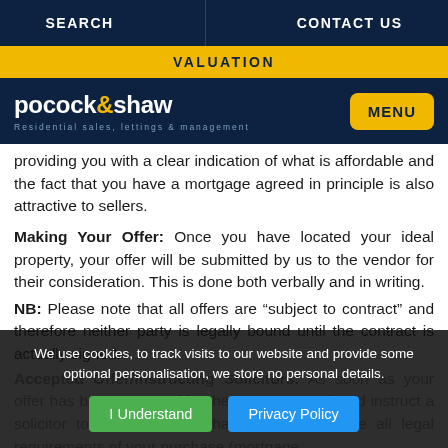SEARCH | CONTACT US
VALUATION
[Figure (logo): Pocock & Shaw logo with text 'Residential sales, lettings & management' and yellow MENU button]
providing you with a clear indication of what is affordable and the fact that you have a mortgage agreed in principle is also attractive to sellers.
Making Your Offer: Once you have located your ideal property, your offer will be submitted by us to the vendor for their consideration. This is done both verbally and in writing.
NB: Please note that all offers are “subject to contract” and therefore neither party is legally bound until the contract is actually signed.
Accepted Offer/Instructing Solicitors: As soon as your offer has been accepted by the vendor, you should instruct a solicitor to act on your behalf, who will handle all legal requirements of your purchase (mortgage...
We use cookies, to track visits to our website and provide some optional personalisation, we store no personal details.